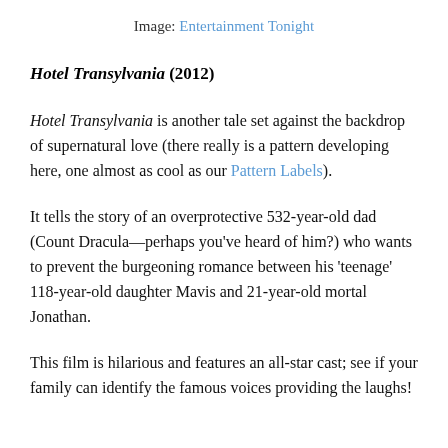Image: Entertainment Tonight
Hotel Transylvania (2012)
Hotel Transylvania is another tale set against the backdrop of supernatural love (there really is a pattern developing here, one almost as cool as our Pattern Labels).
It tells the story of an overprotective 532-year-old dad (Count Dracula—perhaps you've heard of him?) who wants to prevent the burgeoning romance between his 'teenage' 118-year-old daughter Mavis and 21-year-old mortal Jonathan.
This film is hilarious and features an all-star cast; see if your family can identify the famous voices providing the laughs!